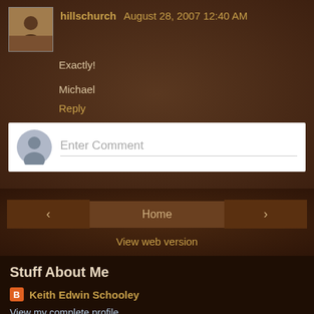hillschurch  August 28, 2007 12:40 AM
Exactly!
Michael
Reply
Enter Comment
‹
Home
›
View web version
Stuff About Me
Keith Edwin Schooley
View my complete profile
StatCounter